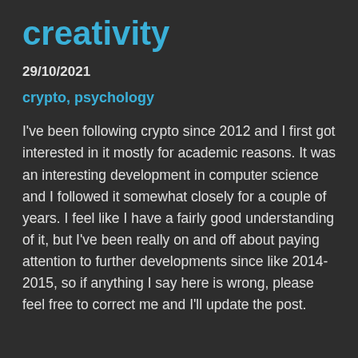creativity
29/10/2021
crypto, psychology
I've been following crypto since 2012 and I first got interested in it mostly for academic reasons. It was an interesting development in computer science and I followed it somewhat closely for a couple of years. I feel like I have a fairly good understanding of it, but I've been really on and off about paying attention to further developments since like 2014-2015, so if anything I say here is wrong, please feel free to correct me and I'll update the post.